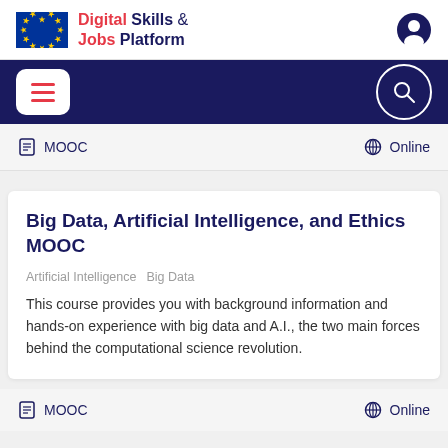[Figure (logo): EU Digital Skills and Jobs Platform logo with EU flag and site title]
[Figure (screenshot): Navigation bar with hamburger menu and search icon on dark blue background]
MOOC    Online
Big Data, Artificial Intelligence, and Ethics MOOC
Artificial Intelligence   Big Data
This course provides you with background information and hands-on experience with big data and A.I., the two main forces behind the computational science revolution.
MOOC    Online